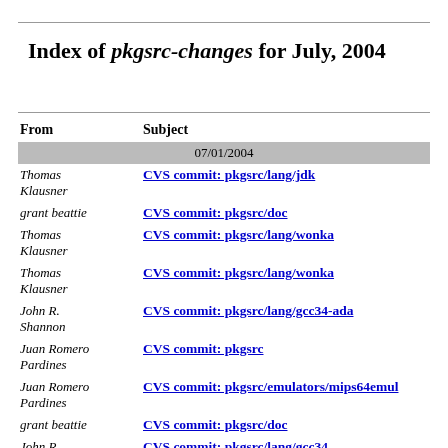Index of pkgsrc-changes for July, 2004
| From | Subject |
| --- | --- |
| 07/01/2004 |  |
| Thomas Klausner | CVS commit: pkgsrc/lang/jdk |
| grant beattie | CVS commit: pkgsrc/doc |
| Thomas Klausner | CVS commit: pkgsrc/lang/wonka |
| Thomas Klausner | CVS commit: pkgsrc/lang/wonka |
| John R. Shannon | CVS commit: pkgsrc/lang/gcc34-ada |
| Juan Romero Pardines | CVS commit: pkgsrc |
| Juan Romero Pardines | CVS commit: pkgsrc/emulators/mips64emul |
| grant beattie | CVS commit: pkgsrc/doc |
| John R. Shannon | CVS commit: pkgsrc/lang/gcc34 |